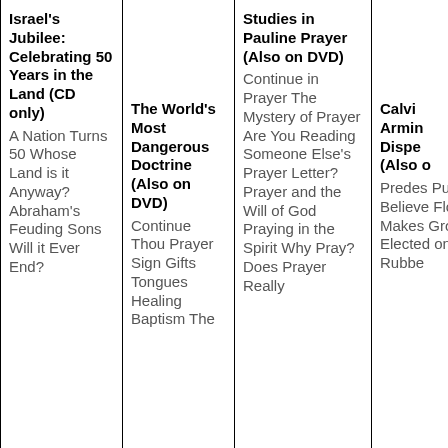Israel's Jubilee: Celebrating 50 Years in the Land (CD only) A Nation Turns 50 Whose Land is it Anyway? Abraham's Feuding Sons Will it Ever End?
The World's Most Dangerous Doctrine (Also on DVD) Continue Thou Prayer Sign Gifts Tongues Healing Baptism The
Studies in Pauline Prayer (Also on DVD) Continue in Prayer The Mystery of Prayer Are You Reading Someone Else's Prayer Letter? Prayer and the Will of God Praying in the Spirit Why Pray? Does Prayer Really
Calvi... Armin... Dispen... (Also o... Predes... Puzzle... Believe... Flower... Makes Grow? Elected on the Rubbe...